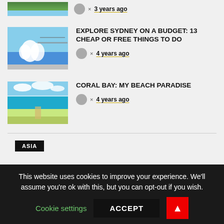[Figure (photo): Partial view of a landscape photo at top, cropped]
3 years ago
[Figure (photo): Sydney Opera House with Harbour Bridge in background, daytime]
EXPLORE SYDNEY ON A BUDGET: 13 CHEAP OR FREE THINGS TO DO
4 years ago
[Figure (photo): Coral Bay beach paradise aerial view, turquoise water and sandy beach]
CORAL BAY: MY BEACH PARADISE
4 years ago
ASIA
This website uses cookies to improve your experience. We'll assume you're ok with this, but you can opt-out if you wish.
Cookie settings
ACCEPT